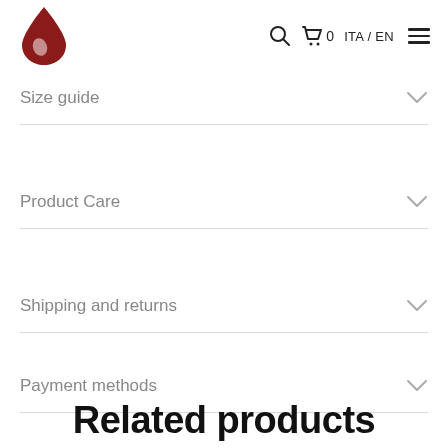Size guide | Product Care | Shipping and returns | Payment methods
Size guide
Product Care
Shipping and returns
Payment methods
Related products